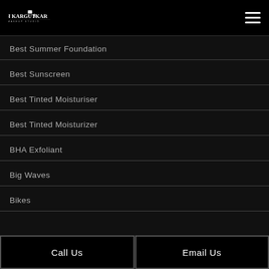Satish Kargutkar – The Makeup Studio
Best Summer Foundation
Best Sunscreen
Best Tinted Moisturiser
Best Tinted Moisturizer
BHA Exfoliant
Big Waves
Bikes
Call Us   Email Us